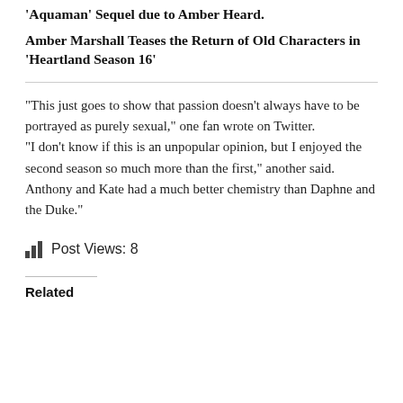'Aquaman' Sequel due to Amber Heard.
Amber Marshall Teases the Return of Old Characters in ‘Heartland Season 16’
“This just goes to show that passion doesn’t always have to be portrayed as purely sexual,” one fan wrote on Twitter.
“I don’t know if this is an unpopular opinion, but I enjoyed the second season so much more than the first,” another said. Anthony and Kate had a much better chemistry than Daphne and the Duke.”
Post Views: 8
Related